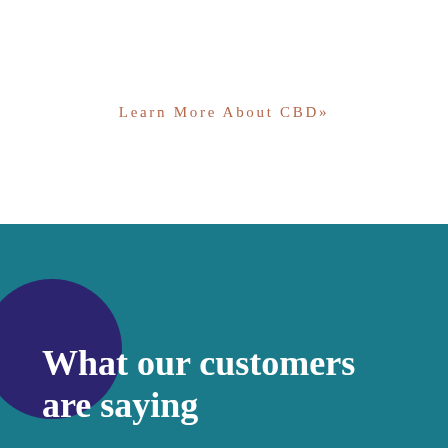Learn More About CBD»
What our customers are saying